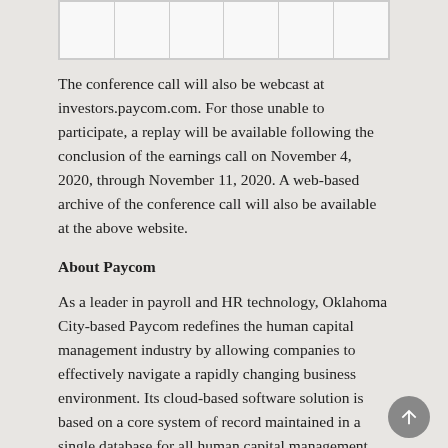The conference call will also be webcast at investors.paycom.com. For those unable to participate, a replay will be available following the conclusion of the earnings call on November 4, 2020, through November 11, 2020. A web-based archive of the conference call will also be available at the above website.
About Paycom
As a leader in payroll and HR technology, Oklahoma City-based Paycom redefines the human capital management industry by allowing companies to effectively navigate a rapidly changing business environment. Its cloud-based software solution is based on a core system of record maintained in a single database for all human capital management functions, providing the functionality that businesses need to manage the complete employment lifecycle, from recruitment to retirement. Paycom has the ability to serve businesses of all sizes and in every industry.